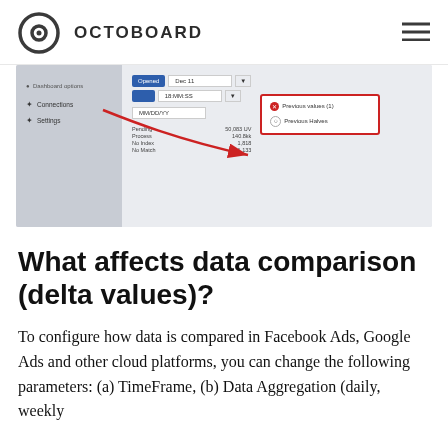OCTOBOARD
[Figure (screenshot): Screenshot of a dashboard settings interface showing sidebar menu with Connections and Settings items, a main panel with date/time dropdowns and blue buttons, a stats grid, and a highlighted alert box with red border showing 'Previous values' and 'Previous Halves' options. A red arrow points from the sidebar area toward the alert box.]
What affects data comparison (delta values)?
To configure how data is compared in Facebook Ads, Google Ads and other cloud platforms, you can change the following parameters: (a) TimeFrame, (b) Data Aggregation (daily, weekly